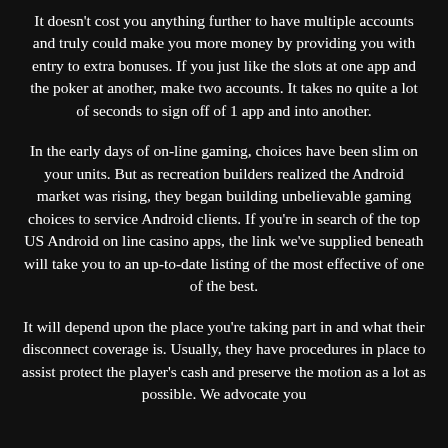It doesn't cost you anything further to have multiple accounts and truly could make you more money by providing you with entry to extra bonuses. If you just like the slots at one app and the poker at another, make two accounts. It takes no quite a lot of seconds to sign off of 1 app and into another.
In the early days of on-line gaming, choices have been slim on your units. But as recreation builders realized the Android market was rising, they began building unbelievable gaming choices to service Android clients. If you're in search of the top US Android on line casino apps, the link we've supplied beneath will take you to an up-to-date listing of the most effective of one of the best.
It will depend upon the place you're taking part in and what their disconnect coverage is. Usually, they have procedures in place to assist protect the player's cash and preserve the motion as a lot as possible. We advocate you